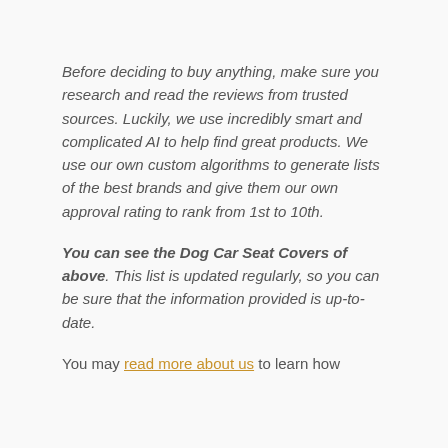Before deciding to buy anything, make sure you research and read the reviews from trusted sources. Luckily, we use incredibly smart and complicated AI to help find great products. We use our own custom algorithms to generate lists of the best brands and give them our own approval rating to rank from 1st to 10th.
You can see the Dog Car Seat Covers of above. This list is updated regularly, so you can be sure that the information provided is up-to-date.
You may read more about us to learn how